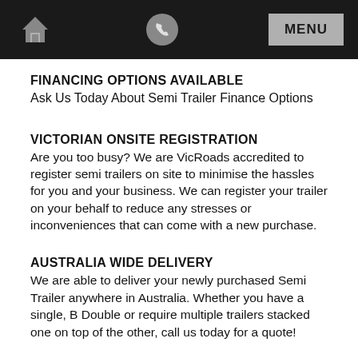HOME | PHONE | MENU
FINANCING OPTIONS AVAILABLE
Ask Us Today About Semi Trailer Finance Options
VICTORIAN ONSITE REGISTRATION
Are you too busy? We are VicRoads accredited to register semi trailers on site to minimise the hassles for you and your business. We can register your trailer on your behalf to reduce any stresses or inconveniences that can come with a new purchase.
AUSTRALIA WIDE DELIVERY
We are able to deliver your newly purchased Semi Trailer anywhere in Australia. Whether you have a single, B Double or require multiple trailers stacked one on top of the other, call us today for a quote!